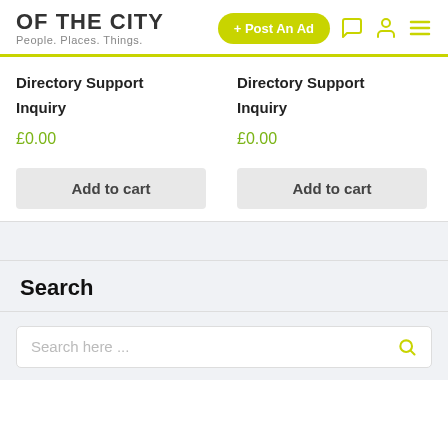OF THE CITY — People. Places. Things. | + Post An Ad
Directory Support
Inquiry
£0.00
Directory Support
Inquiry
£0.00
Search
Search here ...